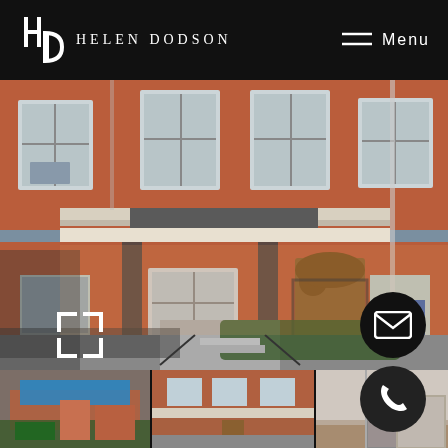HELEN DODSON | Menu
[Figure (photo): Exterior photo of a red brick rowhouse with covered front porch, multiple windows, decorative columns, and ornamental iron front door. Neighboring rowhouses visible on both sides.]
[Figure (photo): Thumbnail: aerial/street view of rowhouses with blue tarp on one roof, green yard visible.]
[Figure (photo): Thumbnail: street-level front view of the same brick rowhouse.]
[Figure (photo): Thumbnail: interior photo showing empty rooms with hardwood floors and hallway.]
[Figure (photo): Thumbnail: another interior view with hallway and empty rooms.]